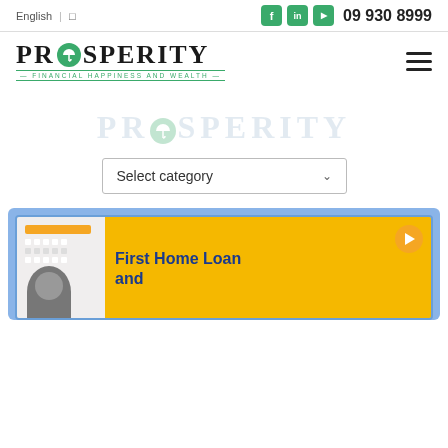English | [icon] [Facebook] [LinkedIn] [YouTube] 09 930 8999
[Figure (logo): Prosperity Financial Happiness and Wealth logo with umbrella icon]
Select category
[Figure (screenshot): First Home Loan and [continues] - video thumbnail card with building illustration and person silhouette on blue/yellow background]